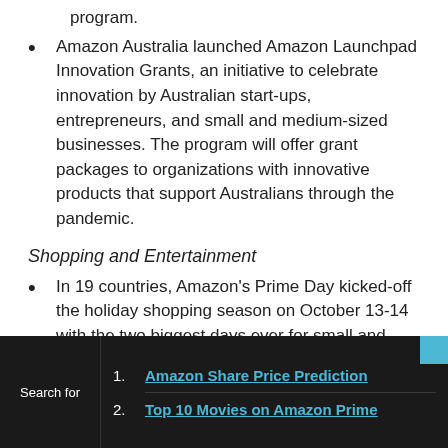program.
Amazon Australia launched Amazon Launchpad Innovation Grants, an initiative to celebrate innovation by Australian start-ups, entrepreneurs, and small and medium-sized businesses. The program will offer grant packages to organizations with innovative products that support Australians through the pandemic.
Shopping and Entertainment
In 19 countries, Amazon's Prime Day kicked-off the holiday shopping season on October 13-14 with the two biggest days ever for small and
Search for
1. Amazon Share Price Prediction
2. Top 10 Movies on Amazon Prime